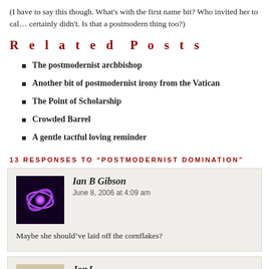(I have to say this though. What's with the first name bit? Who invited her to call… certainly didn't. Is that a postmodern thing too?)
Related Posts
The postmodernist archbishop
Another bit of postmodernist irony from the Vatican
The Point of Scholarship
Crowded Barrel
A gentle tactful loving reminder
13 RESPONSES TO “POSTMODERNIST DOMINATION”
Ian B Gibson
June 8, 2006 at 4:09 am
Maybe she should've laid off the cornflakes?
JonJ
June 8, 2006 at 4:17 am
I think it's an internets thing to do. Everyone is your pal on the inte…